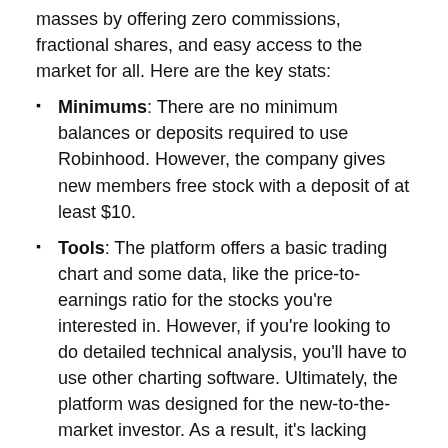masses by offering zero commissions, fractional shares, and easy access to the market for all. Here are the key stats:
Minimums: There are no minimum balances or deposits required to use Robinhood. However, the company gives new members free stock with a deposit of at least $10.
Tools: The platform offers a basic trading chart and some data, like the price-to-earnings ratio for the stocks you're interested in. However, if you're looking to do detailed technical analysis, you'll have to use other charting software. Ultimately, the platform was designed for the new-to-the-market investor. As a result, it's lacking some tools that expert investors would want to have access to.
Assets Available to Trade: The platform supports trading in stocks, options, and cryptocurrencies.
Pricing: Robinhood is a commission-free broker. Options contract fees are also pretty minimal. What's most impressive is that the interest rate on margins is just 2.5%, easily among the lowest in the industry.
Customer Support: Unfortunately, this is another area where the platform falls short. Although you can contact